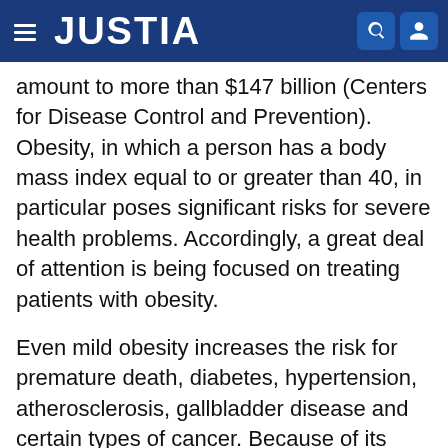JUSTIA
amount to more than $147 billion (Centers for Disease Control and Prevention). Obesity, in which a person has a body mass index equal to or greater than 40, in particular poses significant risks for severe health problems. Accordingly, a great deal of attention is being focused on treating patients with obesity.
Even mild obesity increases the risk for premature death, diabetes, hypertension, atherosclerosis, gallbladder disease and certain types of cancer. Because of its high prevalence and significant health consequences, its treatment should be a high public health priority.
Surgical procedures to treat severe obesity have included various forms of gastric and intestinal bypasses (stomach stapling), biliopancreatic diversion, adjustable gastric banding, vertical banded gastroplasty,